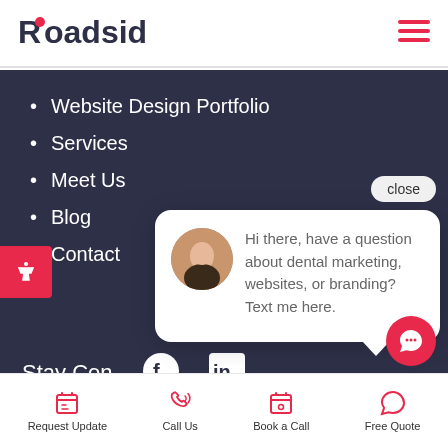[Figure (logo): Roadside logo with stylized R and pink dot over the o]
Website Design Portfolio
Services
Meet Us
Blog
Contact
close
Hi there, have a question about dental marketing, websites, or branding? Text me here.
Stay Con
[Figure (screenshot): Facebook icon]
[Figure (screenshot): LinkedIn icon]
Request Update
Call Us
Book a Call
Free Quote